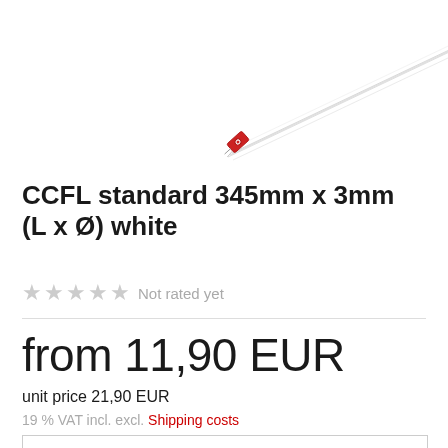[Figure (photo): Product image of a CCFL tube lamp (long thin fluorescent tube) shown diagonally with a small red connector/plug at one end, on white background]
CCFL standard 345mm x 3mm (L x Ø) white
★★★★★ Not rated yet
from 11,90 EUR
unit price 21,90 EUR
19 % VAT incl. excl. Shipping costs
| Quantity | Price |
| --- | --- |
| 1 - 3 pcs. | per 21,90 EUR |